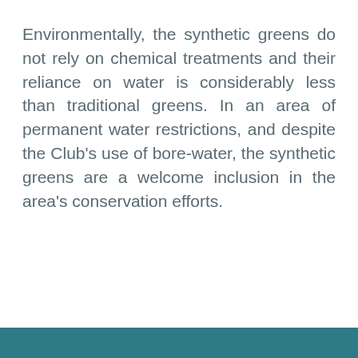Environmentally, the synthetic greens do not rely on chemical treatments and their reliance on water is considerably less than traditional greens. In an area of permanent water restrictions, and despite the Club's use of bore-water, the synthetic greens are a welcome inclusion in the area's conservation efforts.